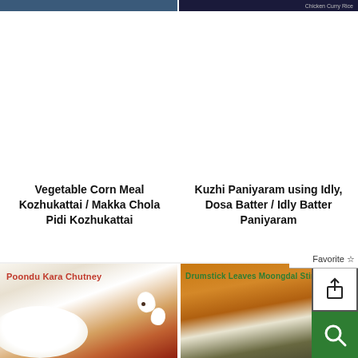[Figure (photo): Partial top view of two food photos cropped at top of page — left shows a blue bowl/plate, right shows dark background with partial text 'Chicken Curry Rice' or similar]
Vegetable Corn Meal Kozhukattai / Makka Chola Pidi Kozhukattai
Kuzhi Paniyaram using Idly, Dosa Batter / Idly Batter Paniyaram
[Figure (photo): Poondu Kara Chutney food photo showing red chutney in a bowl, white idlis, garlic cloves on white background]
[Figure (photo): Drumstick Leaves Moongdal Stirfry food photo showing curry in bowl and greens stir fry on white plate]